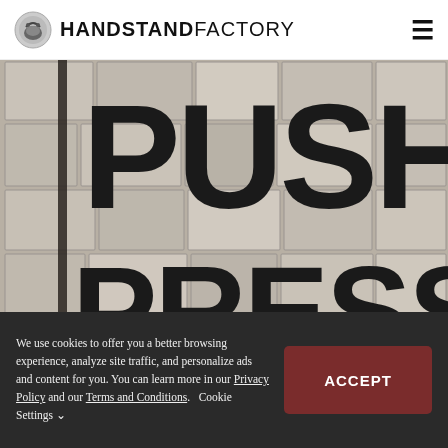HANDSTAND FACTORY
[Figure (illustration): Hero image with large bold text reading 'PUSH PRESS' overlaid on a stone/concrete block textured background in grayscale. A vertical dark bar appears on the left side.]
We use cookies to offer you a better browsing experience, analyze site traffic, and personalize ads and content for you. You can learn more in our Privacy Policy and our Terms and Conditions.   Cookie Settings ˅
ACCEPT